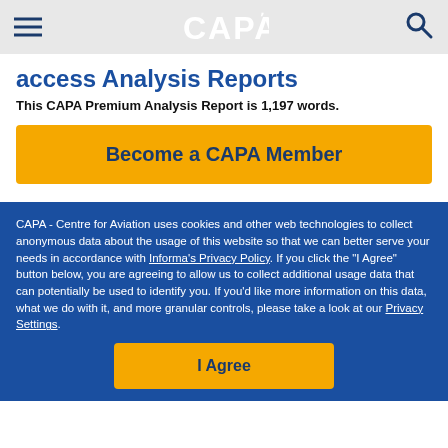CAPA
access Analysis Reports
This CAPA Premium Analysis Report is 1,197 words.
Become a CAPA Member
CAPA - Centre for Aviation uses cookies and other web technologies to collect anonymous data about the usage of this website so that we can better serve your needs in accordance with Informa's Privacy Policy. If you click the "I Agree" button below, you are agreeing to allow us to collect additional usage data that can potentially be used to identify you. If you'd like more information on this data, what we do with it, and more granular controls, please take a look at our Privacy Settings.
I Agree